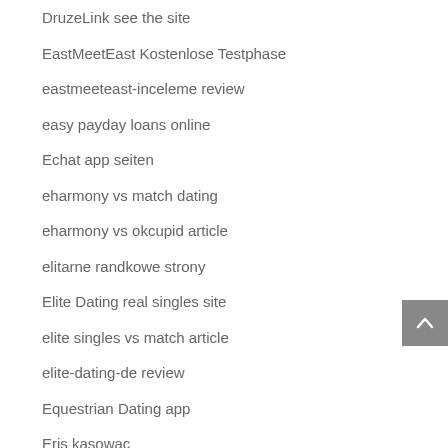DruzeLink see the site
EastMeetEast Kostenlose Testphase
eastmeeteast-inceleme review
easy payday loans online
Echat app seiten
eharmony vs match dating
eharmony vs okcupid article
elitarne randkowe strony
Elite Dating real singles site
elite singles vs match article
elite-dating-de review
Equestrian Dating app
Eris kasowac
essay writers service
essay writing rubric